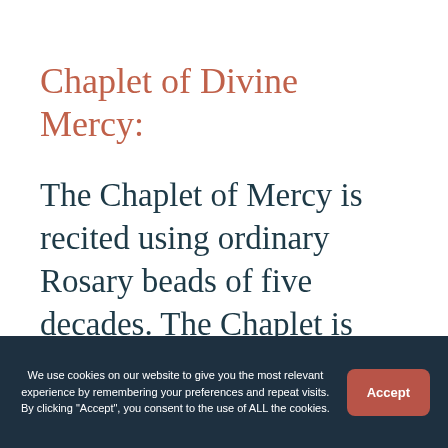Chaplet of Divine Mercy:
The Chaplet of Mercy is recited using ordinary Rosary beads of five decades. The Chaplet is preceded by two opening prayers from the Diary of Saint Maria Faustina Kowa…
We use cookies on our website to give you the most relevant experience by remembering your preferences and repeat visits. By clicking "Accept", you consent to the use of ALL the cookies.